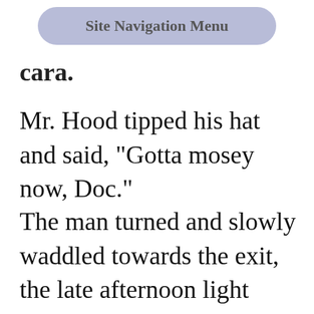Site Navigation Menu
cara.
Mr. Hood tipped his hat and said, "Gotta mosey now, Doc."
The man turned and slowly waddled towards the exit, the late afternoon light making his skin look bright red. Before he reached it, the door swung open, probably from a gust of